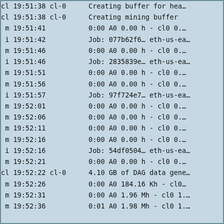| Level/Timestamp | Message |
| --- | --- |
| cl 19:51:38 cl-0 | Creating buffer for hea… |
| cl 19:51:38 cl-0 | Creating mining buffer |
|  m 19:51:41 | 0:00 A0 0.00 h - cl0 0.… |
|  i 19:51:42 | Job: 077b62f6… eth-us-ea… |
|  m 19:51:46 | 0:00 A0 0.00 h - cl0 0.… |
|  i 19:51:46 | Job: 2835839e… eth-us-ea… |
|  m 19:51:51 | 0:00 A0 0.00 h - cl0 0.… |
|  m 19:51:56 | 0:00 A0 0.00 h - cl0 0.… |
|  i 19:51:57 | Job: 97f724e7… eth-us-ea… |
|  m 19:52:01 | 0:00 A0 0.00 h - cl0 0.… |
|  m 19:52:06 | 0:00 A0 0.00 h - cl0 0.… |
|  m 19:52:11 | 0:00 A0 0.00 h - cl0 0.… |
|  m 19:52:16 | 0:00 A0 0.00 h - cl0 0.… |
|  i 19:52:16 | Job: 54df0504… eth-us-ea… |
|  m 19:52:21 | 0:00 A0 0.00 h - cl0 0.… |
| cl 19:52:22 cl-0 | 4.10 GB of DAG data gene… |
|  m 19:52:26 | 0:00 A0 184.16 Kh - cl0 … |
|  m 19:52:31 | 0:00 A0 1.96 Mh - cl0 1.… |
|  m 19:52:36 | 0:01 A0 1.98 Mh - cl0 1.… |